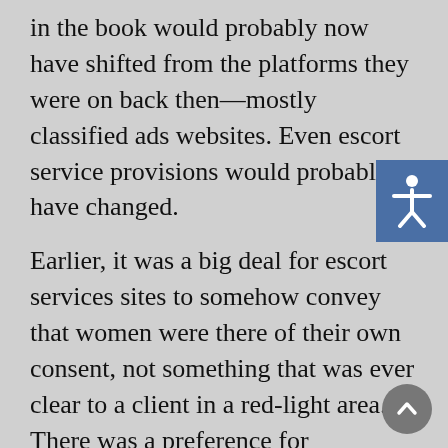in the book would probably now have shifted from the platforms they were on back then—mostly classified ads websites. Even escort service provisions would probably have changed.
Earlier, it was a big deal for escort services sites to somehow convey that women were there of their own consent, not something that was ever clear to a client in a red-light area. There was a preference for independent escorts because it liberates men from the burden of worrying that they are part of something forced or harmful to women. With Tinder notionally catering to the same preference I think there has been